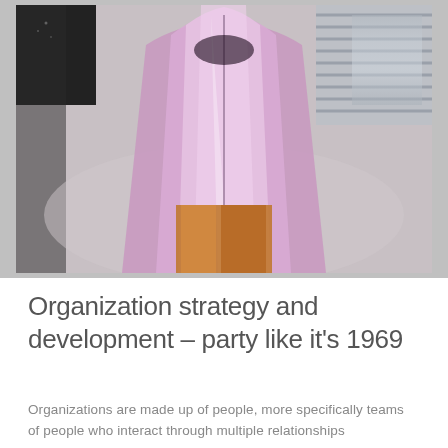[Figure (photo): A person wearing a shiny metallic pink/mauve long coat, standing against a light gray background. The image is cropped at the torso and below, showing orange/brown pants underneath the open coat.]
Organization strategy and development – party like it's 1969
Organizations are made up of people, more specifically teams of people who interact through multiple relationships